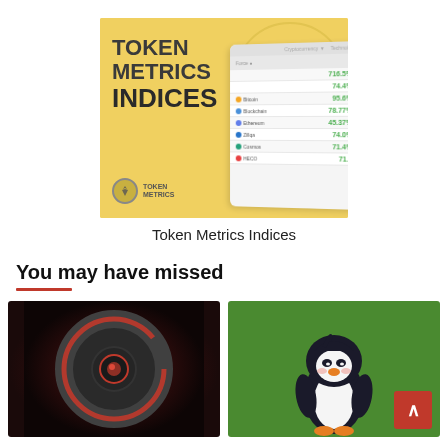[Figure (illustration): Token Metrics Indices promotional image with yellow background showing TOKEN METRICS INDICES text in bold dark font on left, Token Metrics logo at bottom left, and a white panel on right showing cryptocurrency index data with green percentage values]
Token Metrics Indices
You may have missed
[Figure (illustration): Dark circular metallic logo with red accents on dark red/black background]
[Figure (illustration): Cartoon penguin character on green background with a red scroll-to-top button overlay]